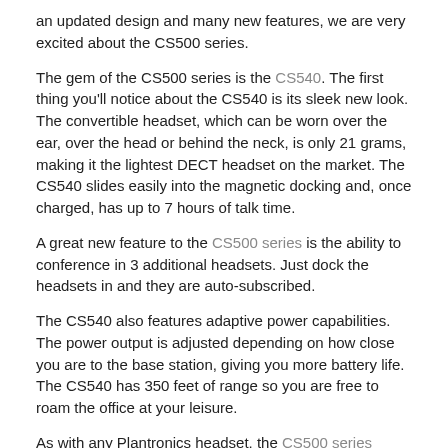an updated design and many new features, we are very excited about the CS500 series.
The gem of the CS500 series is the CS540. The first thing you'll notice about the CS540 is its sleek new look. The convertible headset, which can be worn over the ear, over the head or behind the neck, is only 21 grams, making it the lightest DECT headset on the market. The CS540 slides easily into the magnetic docking and, once charged, has up to 7 hours of talk time.
A great new feature to the CS500 series is the ability to conference in 3 additional headsets. Just dock the headsets in and they are auto-subscribed.
The CS540 also features adaptive power capabilities. The power output is adjusted depending on how close you are to the base station, giving you more battery life. The CS540 has 350 feet of range so you are free to roam the office at your leisure.
As with any Plantronics headset, the CS500 series possesses unparalleled sound quality. The CS540 supports both narrowband and wideband for versatile sound performance